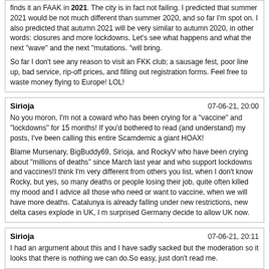finds it an FAAK in 2021. The city is in fact not failing. I predicted that summer 2021 would be not much different than summer 2020, and so far I'm spot on. I also predicted that autumn 2021 will be very similar to autumn 2020, in other words: closures and more lockdowns. Let's see what happens and what the next "wave" and the next "mutations. "will bring.

So far I don't see any reason to visit an FKK club; a sausage fest, poor line up, bad service, rip-off prices, and filling out registration forms. Feel free to waste money flying to Europe! LOL!
Sirioja | 07-06-21, 20:00
No you moron, I'm not a coward who has been crying for a "vaccine" and "lockdowns" for 15 months! If you'd bothered to read (and understand) my posts, I've been calling this entire Scamdemic a giant HOAX!

Blame Mursenary, BigBuddy69, Sirioja, and RockyV who have been crying about "millions of deaths" since March last year and who support lockdowns and vaccines!I think I'm very different from others you list, when I don't know Rocky, but yes, so many deaths or people losing their job, quite often killed my mood and I advice all those who need or want to vaccine, when we will have more deaths. Catalunya is already falling under new restrictions, new delta cases explode in UK, I m surprised Germany decide to allow UK now.
Sirioja | 07-06-21, 20:11
I had an argument about this and I have sadly sacked but the moderation so it looks that there is nothing we can do.So easy, just don't read me.
BigBuddy69 | 07-06-21, 20:41
I predicted that summer 2021 would be not much different than summer 2020, and so far I'm spot on.Actually it's very different because all of the major clubs of Hesse are open or will open soon, most of the clubs of NRW are open.